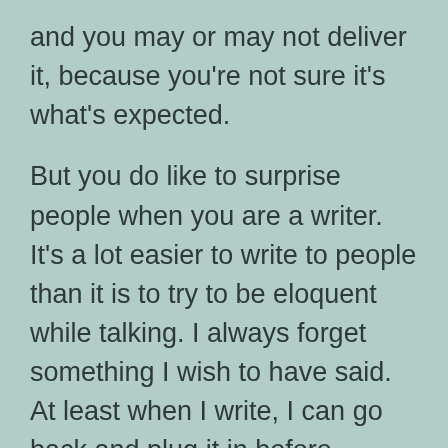and you may or may not deliver it, because you're not sure it's what's expected.
But you do like to surprise people when you are a writer. It's a lot easier to write to people than it is to try to be eloquent while talking. I always forget something I wish to have said. At least when I write, I can go back and plug it in before publishing.
When you are a writer, you are not embarrassed by what you write. You acknowledge mistakes, but you own them and learn from them. As a result, your writing gets